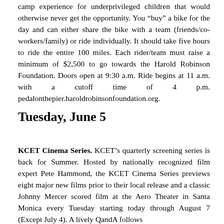camp experience for underprivileged children that would otherwise never get the opportunity. You “buy” a bike for the day and can either share the bike with a team (friends/co-workers/family) or ride individually. It should take five hours to ride the entire 100 miles. Each rider/team must raise a minimum of $2,500 to go towards the Harold Robinson Foundation. Doors open at 9:30 a.m. Ride begins at 11 a.m. with a cutoff time of 4 p.m. pedalonthepier.haroldrobinsonfoundation.org.
Tuesday, June 5
KCET Cinema Series. KCET’s quarterly screening series is back for Summer. Hosted by nationally recognized film expert Pete Hammond, the KCET Cinema Series previews eight major new films prior to their local release and a classic Johnny Mercer scored film at the Aero Theater in Santa Monica every Tuesday starting today through August 7 (Except July 4). A lively QandA follows